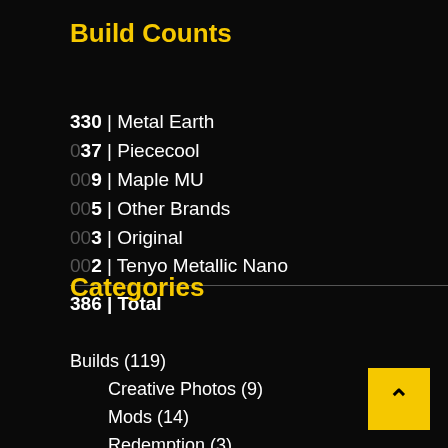Build Counts
330 | Metal Earth
037 | Piececool
009 | Maple MU
005 | Other Brands
003 | Original
002 | Tenyo Metallic Nano
386 | Total
Categories
Builds (119)
Creative Photos (9)
Mods (14)
Redemption (3)
Review Builds (25)
Throwback Thursdays (14)